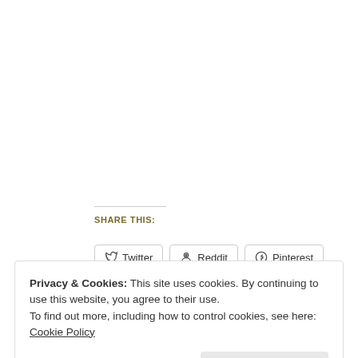Share this:
Twitter  Reddit  Pinterest
Privacy & Cookies: This site uses cookies. By continuing to use this website, you agree to their use.
To find out more, including how to control cookies, see here: Cookie Policy
Close and accept